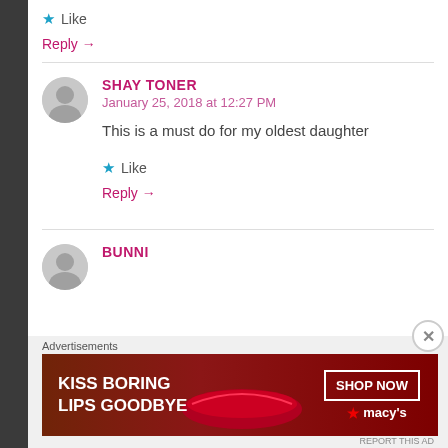★ Like
Reply →
SHAY TONER
January 25, 2018 at 12:27 PM
This is a must do for my oldest daughter
★ Like
Reply →
BUNNI
Advertisements
[Figure (illustration): Macy's advertisement banner: KISS BORING LIPS GOODBYE with SHOP NOW button and Macy's star logo, dark red background with woman's lips]